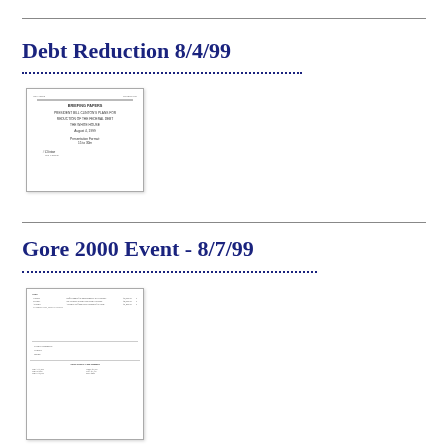Debt Reduction 8/4/99
[Figure (screenshot): Thumbnail image of a document page with header text, title 'BRIEFING PAPERS', centered text blocks, and signature area]
Gore 2000 Event - 8/7/99
[Figure (screenshot): Thumbnail image of a multi-page document with tabular data, form fields, and text sections]